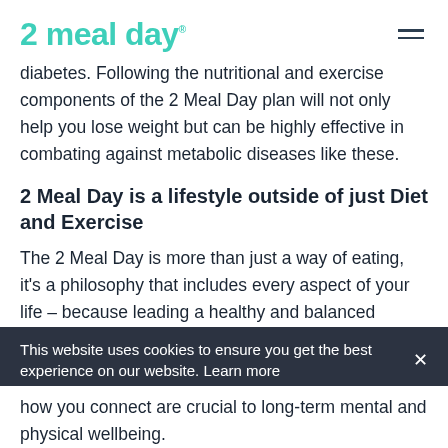2 meal day
diabetes. Following the nutritional and exercise components of the 2 Meal Day plan will not only help you lose weight but can be highly effective in combating against metabolic diseases like these.
2 Meal Day is a lifestyle outside of just Diet and Exercise
The 2 Meal Day is more than just a way of eating, it's a philosophy that includes every aspect of your life – because leading a healthy and balanced lifestyle means more than just focusing your diet and exercise.
This website uses cookies to ensure you get the best experience on our website. Learn more
how you connect are crucial to long-term mental and physical wellbeing.